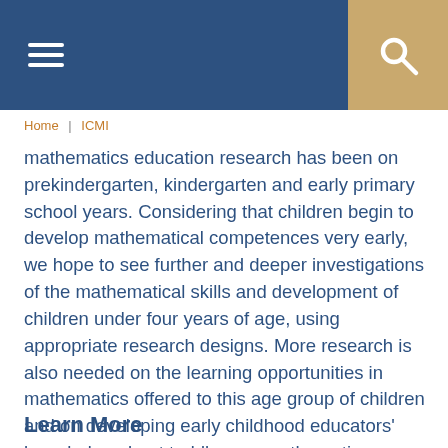≡  🔍
Home | ICMI
mathematics education research has been on prekindergarten, kindergarten and early primary school years. Considering that children begin to develop mathematical competences very early, we hope to see further and deeper investigations of the mathematical skills and development of children under four years of age, using appropriate research designs. More research is also needed on the learning opportunities in mathematics offered to this age group of children and on developing early childhood educators' knowledge about toddlers as mathematics learners.
Learn More